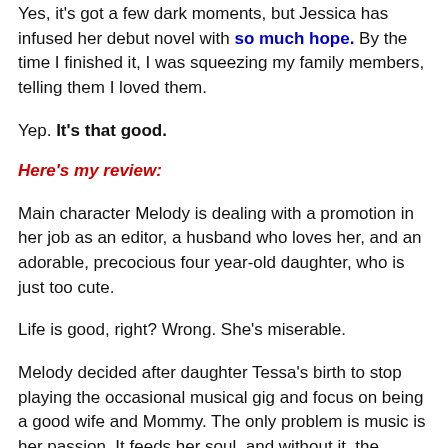Yes, it's got a few dark moments, but Jessica has infused her debut novel with so much hope. By the time I finished it, I was squeezing my family members, telling them I loved them.
Yep. It's that good.
Here's my review:
Main character Melody is dealing with a promotion in her job as an editor, a husband who loves her, and an adorable, precocious four year-old daughter, who is just too cute.
Life is good, right? Wrong. She's miserable.
Melody decided after daughter Tessa's birth to stop playing the occasional musical gig and focus on being a good wife and Mommy. The only problem is music is her passion. It feeds her soul, and without it, the monotony of daily life is killing her.
She's spiraling into depression, every little thing her family does is annoying the living daylights out of her.